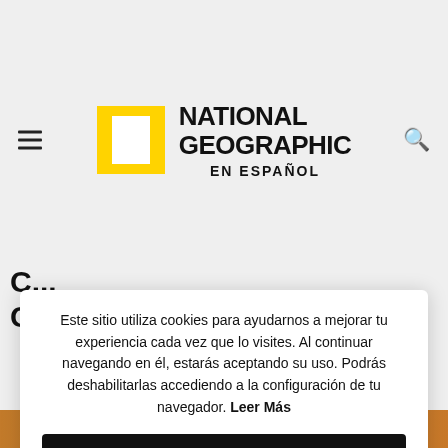[Figure (logo): National Geographic en Español logo with yellow rectangular border symbol and bold text]
C...
Este sitio utiliza cookies para ayudarnos a mejorar tu experiencia cada vez que lo visites. Al continuar navegando en él, estarás aceptando su uso. Podrás deshabilitarlas accediendo a la configuración de tu navegador. Leer Más
Acepto